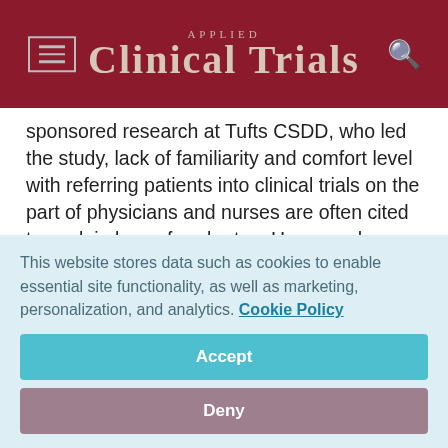Applied Clinical Trials
sponsored research at Tufts CSDD, who led the study, lack of familiarity and comfort level with referring patients into clinical trials on the part of physicians and nurses are often cited to explain low referral rates. However, he noted, the study results show that these factors are playing a much smaller role.
"The study results challenge the long-held notion that health care providers are a barrier to recruitment, and suggest
This website stores data such as cookies to enable essential site functionality, as well as marketing, personalization, and analytics. Cookie Policy
Accept
Deny